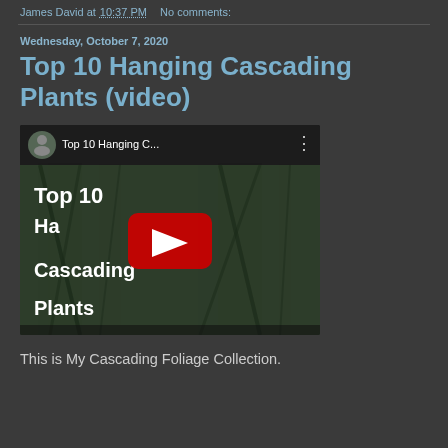James David at 10:37 PM   No comments:
Wednesday, October 7, 2020
Top 10 Hanging Cascading Plants (video)
[Figure (screenshot): YouTube video embed thumbnail showing 'Top 10 Hanging C...' with play button, avatar of James David, and text overlay reading 'Top 10 Hanging Cascading Plants']
This is My Cascading Foliage Collection.